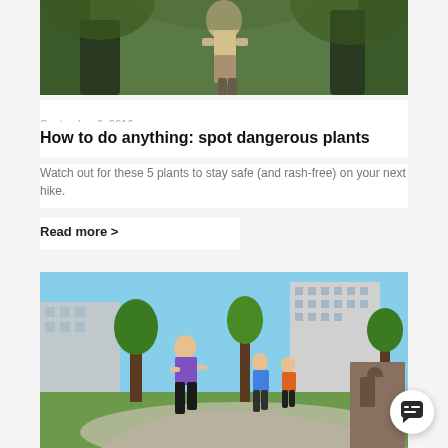[Figure (photo): Person with backpack hiking in a green forest, seen from behind]
September 6, 2016
How to do anything: spot dangerous plants
Watch out for these 5 plants to stay safe (and rash-free) on your next hike.
Read more >
[Figure (photo): People running in a city park with buildings in the background on a sunny day]